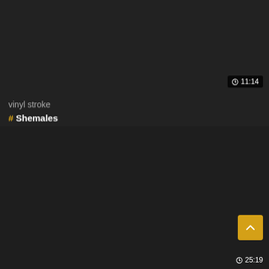[Figure (screenshot): Dark background top video thumbnail area]
⏱ 11:14
vinyl stroke
# Shemales
[Figure (screenshot): Dark background bottom video thumbnail area]
▲
⏱ 25:19